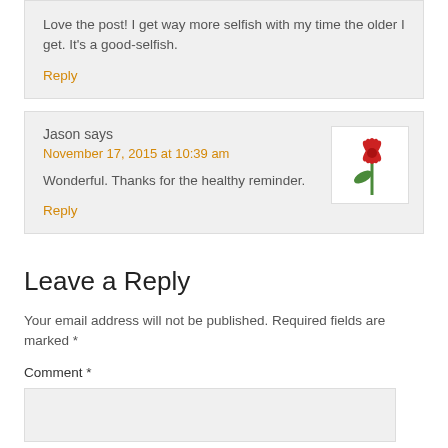Love the post! I get way more selfish with my time the older I get. It's a good-selfish.
Reply
Jason says
November 17, 2015 at 10:39 am
[Figure (illustration): Small floral icon with red petals and green stem on white background]
Wonderful. Thanks for the healthy reminder.
Reply
Leave a Reply
Your email address will not be published. Required fields are marked *
Comment *